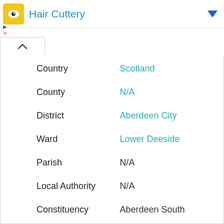Hair Cuttery
| Field | Value |
| --- | --- |
| Country | Scotland |
| County | N/A |
| District | Aberdeen City |
| Ward | Lower Deeside |
| Parish | N/A |
| Local Authority | N/A |
| Constituency | Aberdeen South |